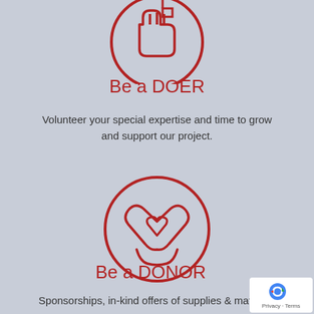[Figure (illustration): Partial red circle icon (cut off at top) containing a hand/volunteer symbol, shown at top of page]
Be a DOER
Volunteer your special expertise and time to grow and support our project.
[Figure (illustration): Red circle icon containing a heart-with-hands donation symbol representing a donor]
Be a DONOR
Sponsorships, in-kind offers of supplies & materials